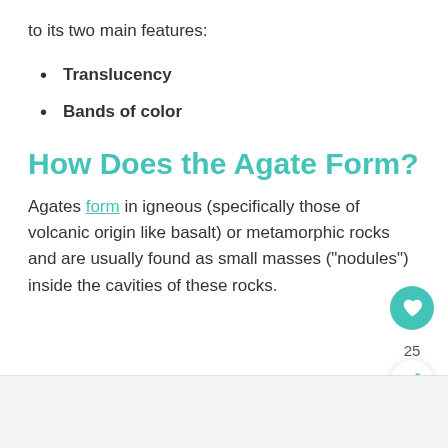to its two main features:
Translucency
Bands of color
How Does the Agate Form?
Agates form in igneous (specifically those of volcanic origin like basalt) or metamorphic rocks and are usually found as small masses (“nodules”) inside the cavities of these rocks.